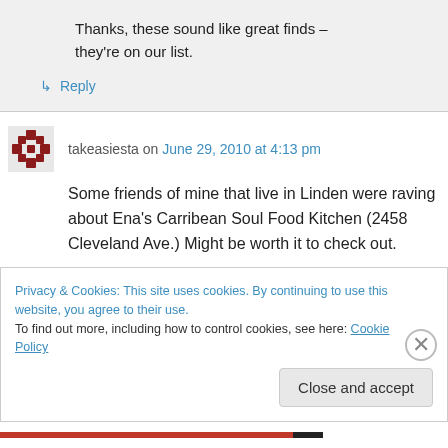Thanks, these sound like great finds – they're on our list.
↳ Reply
takeasiesta on June 29, 2010 at 4:13 pm
Some friends of mine that live in Linden were raving about Ena's Carribean Soul Food Kitchen (2458 Cleveland Ave.) Might be worth it to check out.
Privacy & Cookies: This site uses cookies. By continuing to use this website, you agree to their use. To find out more, including how to control cookies, see here: Cookie Policy
Close and accept